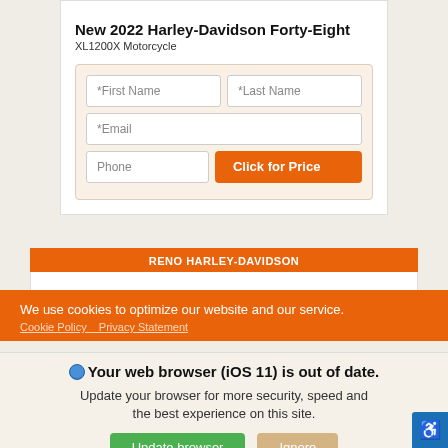New 2022 Harley-Davidson Forty-Eight
XL1200X Motorcycle
[Figure (screenshot): Web form with fields: *First Name, *Last Name, *Email, Phone, and a 'Click for Price' orange button]
RENO HARLEY-DAVIDSON
We use cookies to optimize our website and our service.
Cookie Policy   Privacy Statement
Your web browser (iOS 11) is out of date. Update your browser for more security, speed and the best experience on this site.
Update browser   Ignore